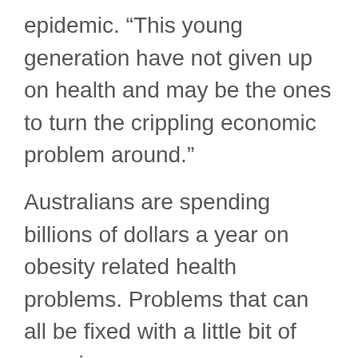epidemic. “This young generation have not given up on health and may be the ones to turn the crippling economic problem around.”
Australians are spending billions of dollars a year on obesity related health problems. Problems that can all be fixed with a little bit of exercise.
“If my mum got fit again and picked me up in sporty clothes, I’d get so many compliments. I’d